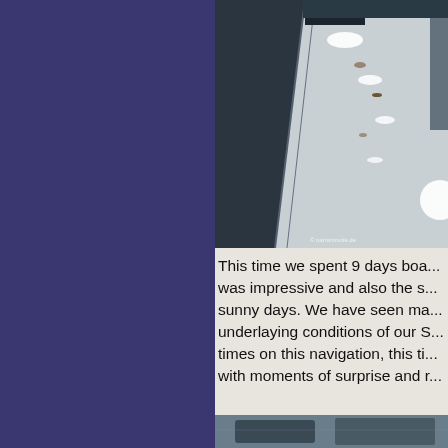top
[Figure (photo): Aerial view of a boat deck covered in snow with debris, looking down the length of the vessel. Watermark reads '© narrenmutik.de']
This time we spent 9 days boa... was impressive and also the s... sunny days. We have seen ma... underlaying conditions of our S... times on this navigation, this ti... with moments of surprise and r...
[Figure (photo): Partial view of a second boat-related photograph, mostly cut off at the bottom of the page.]